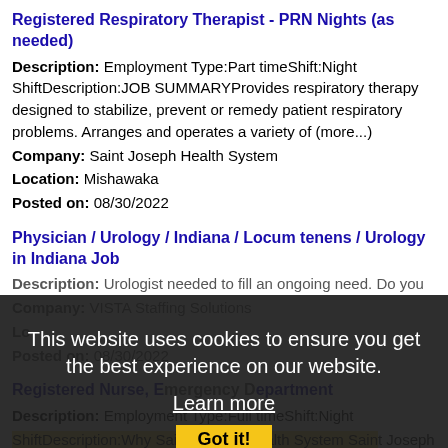Registered Respiratory Therapist - PRN Nights (as needed)
Description: Employment Type:Part timeShift:Night ShiftDescription:JOB SUMMARYProvides respiratory therapy designed to stabilize, prevent or remedy patient respiratory problems. Arranges and operates a variety of (more...)
Company: Saint Joseph Health System
Location: Mishawaka
Posted on: 08/30/2022
Physician / Urology / Indiana / Locum tenens / Urology in Indiana Job
Description: Urologist needed to fill an ongoing need. Do you
Company: VISTA Staffing Solutions
Location:
Posted on: 08/30/2022
Registered Nurse, Emergency Department
Description: Employment Type:Full timeShift:Night ShiftDescription:Why Saint Joseph Health System Saint Joseph Health System is a not-for-profit, multi-hospital health system located in North Central Indiana.Our system (more...)
Company: Saint Joseph Health System
Location: Mishawaka
[Figure (screenshot): Cookie consent overlay with dark semi-transparent background showing: 'This website uses cookies to ensure you get the best experience on our website.' with 'Learn more' link and 'Got it!' button]